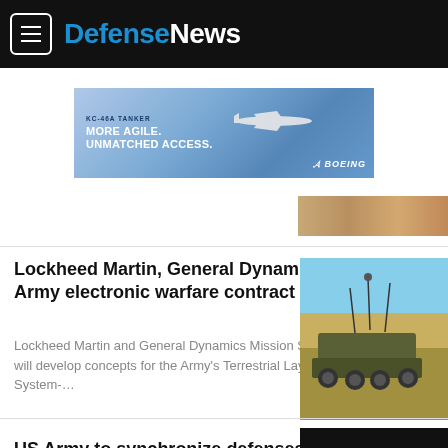Defense News
[Figure (screenshot): Boeing KC-46A Tanker advertisement banner: 'KC-46A TANKER / MORE AGILE. / UNMATCHED ACCESS.' with aircraft image and Boeing logo]
[Figure (photo): Partial thumbnail image - desert/sandy terrain, top right corner]
Lockheed Martin, General Dynamics win Army electronic warfare contract
Lockheed Martin and General Dynamics Mission Systems will develop concepts for the Army's Terrestrial Layer System-…
[Figure (photo): Military wheeled armored vehicle (Stryker) in field with antennas, blue sky background]
US Army to synchronize defenses as cyber fight goes global